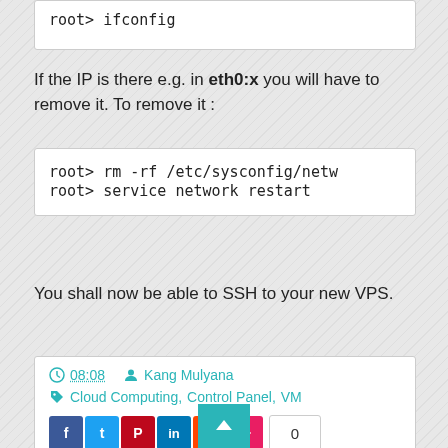root> ifconfig
If the IP is there e.g. in eth0:x you will have to remove it. To remove it :
root> rm -rf /etc/sysconfig/netw
root> service network restart
You shall now be able to SSH to your new VPS.
08:08  Kang Mulyana  Cloud Computing, Control Panel, VM